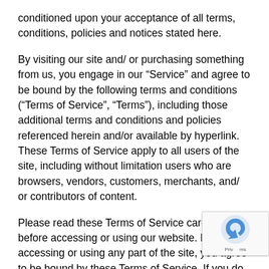conditioned upon your acceptance of all terms, conditions, policies and notices stated here.
By visiting our site and/ or purchasing something from us, you engage in our “Service” and agree to be bound by the following terms and conditions (“Terms of Service”, “Terms”), including those additional terms and conditions and policies referenced herein and/or available by hyperlink. These Terms of Service apply to all users of the site, including without limitation users who are browsers, vendors, customers, merchants, and/ or contributors of content.
Please read these Terms of Service carefully before accessing or using our website. By accessing or using any part of the site, you agree to be bound by these Terms of Service. If you do not agree to all the terms conditions of this agreement, then you may not access